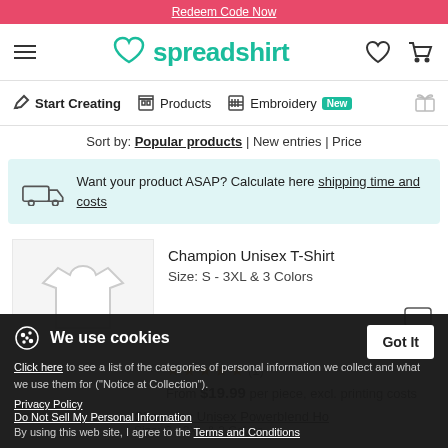Redeem Code Now
[Figure (logo): Spreadshirt logo with heart-shaped icon and site navigation header showing hamburger menu, wishlist heart, and cart icons]
Start Creating | Products | Embroidery New
Sort by: Popular products | New entries | Price
Want your product ASAP? Calculate here shipping time and costs
Champion Unisex T-Shirt
Size: S - 3XL & 3 Colors
★★★★★ (1)
From $19.99 per piece, excl. printing costs
Champion Unisex Powerblend Ho
Size: S - 3XL & 3 Colors
We use cookies
Click here to see a list of the categories of personal information we collect and what we use them for ("Notice at Collection").
Privacy Policy
Do Not Sell My Personal Information
By using this web site, I agree to the Terms and Conditions